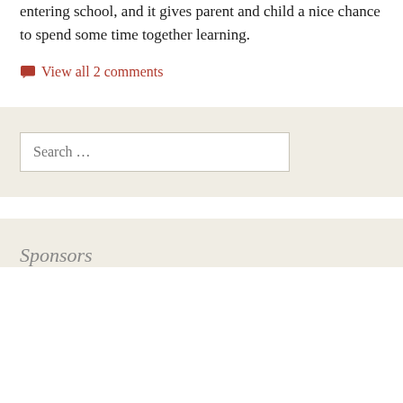entering school, and it gives parent and child a nice chance to spend some time together learning.
View all 2 comments
Search …
Sponsors